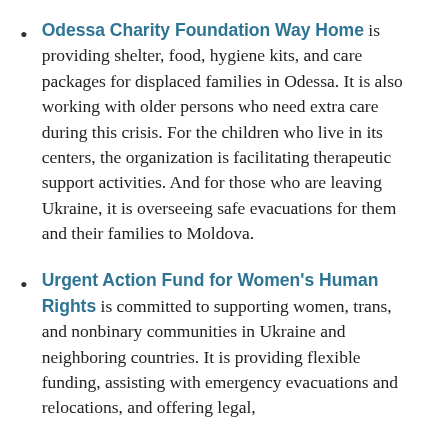Odessa Charity Foundation Way Home is providing shelter, food, hygiene kits, and care packages for displaced families in Odessa. It is also working with older persons who need extra care during this crisis. For the children who live in its centers, the organization is facilitating therapeutic support activities. And for those who are leaving Ukraine, it is overseeing safe evacuations for them and their families to Moldova.
Urgent Action Fund for Women's Human Rights is committed to supporting women, trans, and nonbinary communities in Ukraine and neighboring countries. It is providing flexible funding, assisting with emergency evacuations and relocations, and offering legal,